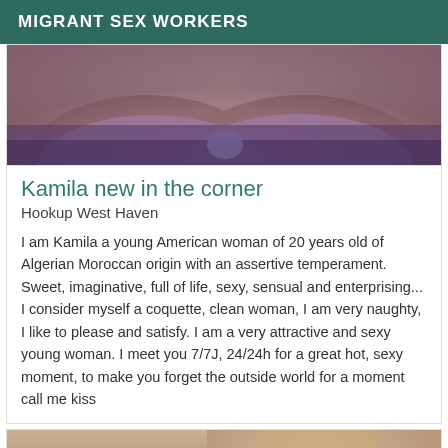MIGRANT SEX WORKERS
[Figure (photo): Close-up photo of a woman wearing a purple/lavender lace bra, cropped to show torso only]
Kamila new in the corner
Hookup West Haven
I am Kamila a young American woman of 20 years old of Algerian Moroccan origin with an assertive temperament. Sweet, imaginative, full of life, sexy, sensual and enterprising... I consider myself a coquette, clean woman, I am very naughty, I like to please and satisfy. I am a very attractive and sexy young woman. I meet you 7/7J, 24/24h for a great hot, sexy moment, to make you forget the outside world for a moment call me kiss
[Figure (photo): Partial photo of a woman, cropped, with an 'Online' badge overlay in dark green]